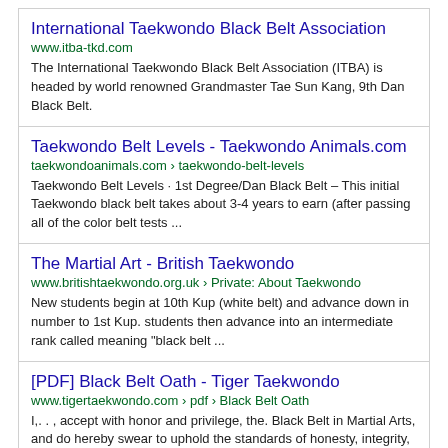International Taekwondo Black Belt Association
www.itba-tkd.com
The International Taekwondo Black Belt Association (ITBA) is headed by world renowned Grandmaster Tae Sun Kang, 9th Dan Black Belt.
Taekwondo Belt Levels - Taekwondo Animals.com
taekwondoanimals.com › taekwondo-belt-levels
Taekwondo Belt Levels · 1st Degree/Dan Black Belt – This initial Taekwondo black belt takes about 3-4 years to earn (after passing all of the color belt tests ...
The Martial Art - British Taekwondo
www.britishtaekwondo.org.uk › Private: About Taekwondo
New students begin at 10th Kup (white belt) and advance down in number to 1st Kup. students then advance into an intermediate rank called meaning "black belt ...
[PDF] Black Belt Oath - Tiger Taekwondo
www.tigertaekwondo.com › pdf › Black Belt Oath
I,. . , accept with honor and privilege, the. Black Belt in Martial Arts, and do hereby swear to uphold the standards of honesty, integrity, courtesy, ...
TKD Belt/Ranking System | Family Taekwondo Littleton CO
www.familytkd.org › belt-ranking-system